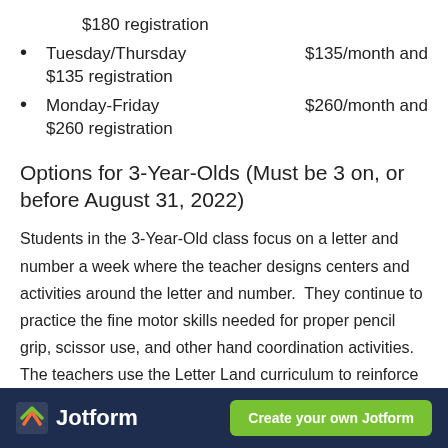$180 registration
Tuesday/Thursday   $135/month and $135 registration
Monday-Friday   $260/month and $260 registration
Options for 3-Year-Olds (Must be 3 on, or before August 31, 2022)
Students in the 3-Year-Old class focus on a letter and number a week where the teacher designs centers and activities around the letter and number.  They continue to practice the fine motor skills needed for proper pencil grip, scissor use, and other hand coordination activities.  The teachers use the Letter Land curriculum to reinforce the alphabet. Students also practice memory verses each week that correspond to their letter or their Bible story.
Jotform  Create your own Jotform